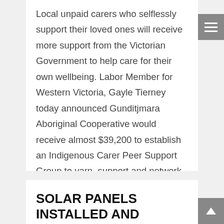Local unpaid carers who selflessly support their loved ones will receive more support from the Victorian Government to help care for their own wellbeing. Labor Member for Western Victoria, Gayle Tierney today announced Gunditjmara Aboriginal Cooperative would receive almost $39,200 to establish an Indigenous Carer Peer Support Group to yarn, support and network with each...
SOLAR PANELS INSTALLED AND READY FOR SUMMER SUN
Latest News, Media Releases • By editor • November 15, 2021